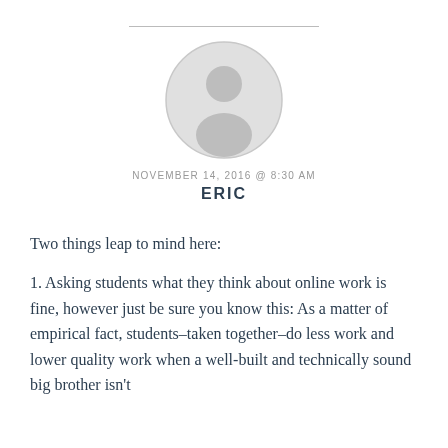[Figure (illustration): Circular avatar placeholder image with a grey silhouette of a person (head and shoulders) on a light grey background with a thin grey border circle.]
NOVEMBER 14, 2016 @ 8:30 AM
ERIC
Two things leap to mind here:
1. Asking students what they think about online work is fine, however just be sure you know this: As a matter of empirical fact, students–taken together–do less work and lower quality work when a well-built and technically sound big brother isn't